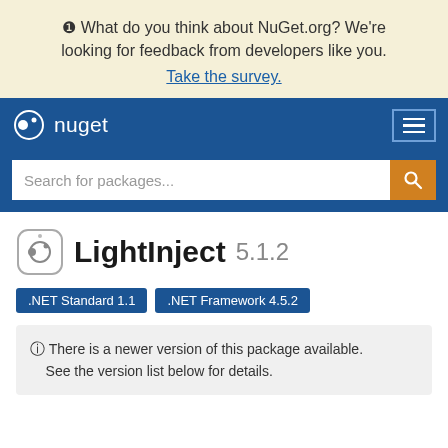❶ What do you think about NuGet.org? We're looking for feedback from developers like you. Take the survey.
[Figure (screenshot): NuGet.org navigation bar with logo and hamburger menu icon]
[Figure (screenshot): Search bar with placeholder 'Search for packages...' and orange search button]
LightInject 5.1.2
.NET Standard 1.1   .NET Framework 4.5.2
ⓘ There is a newer version of this package available. See the version list below for details.